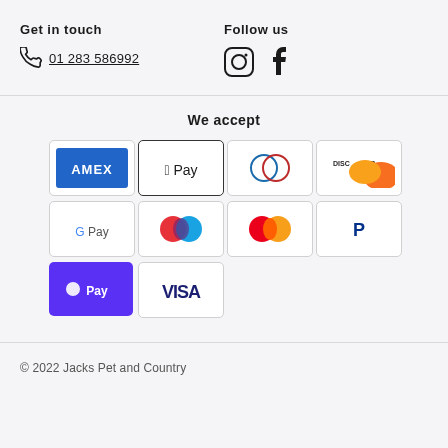Get in touch
01 283 586992
Follow us
[Figure (infographic): Instagram and Facebook social media icons]
We accept
[Figure (infographic): Payment method logos: American Express, Apple Pay, Diners Club, Discover, Google Pay, Maestro, Mastercard, PayPal, Shop Pay, Visa]
© 2022 Jacks Pet and Country